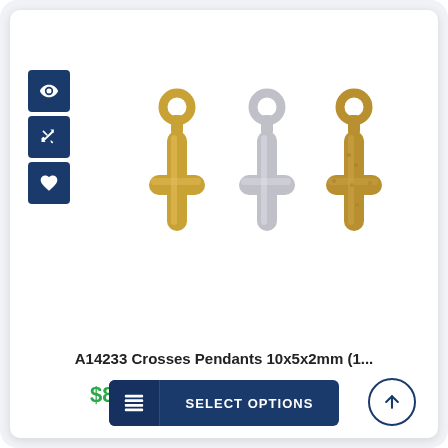[Figure (photo): Three small cross pendants (10x5x2mm) shown in gold, silver, and antique gold finishes, arranged side by side on a white background.]
A14233 Crosses Pendants 10x5x2mm (1...
$8.00
SELECT OPTIONS